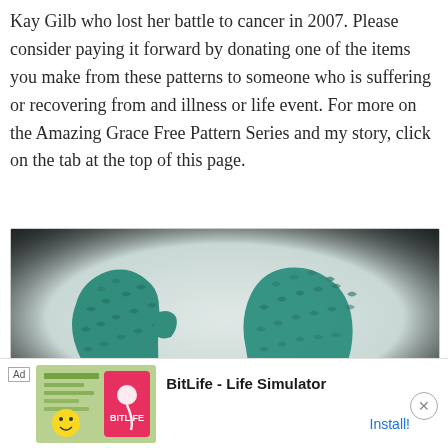Kay Gilb who lost her battle to cancer in 2007. Please consider paying it forward by donating one of the items you make from these patterns to someone who is suffering or recovering from and illness or life event. For more on the Amazing Grace Free Pattern Series and my story, click on the tab at the top of this page.
[Figure (photo): Photograph of two teal/green crochet fingerless mittens or wristlets laid on a light background, showing textured yarn work]
[Figure (infographic): Advertisement bar at bottom: Ad label, BitLife app icon with emoji and sperm logo, text 'BitLife - Life Simulator', Install button link, and X close button]